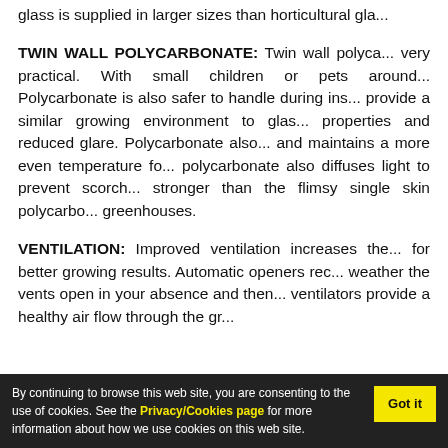glass is supplied in larger sizes than horticultural gla...
TWIN WALL POLYCARBONATE: Twin wall polyca... very practical. With small children or pets around... Polycarbonate is also safer to handle during ins... provide a similar growing environment to glas... properties and reduced glare. Polycarbonate also... and maintains a more even temperature fo... polycarbonate also diffuses light to prevent scorch... stronger than the flimsy single skin polycarbo... greenhouses.
VENTILATION: Improved ventilation increases the... for better growing results. Automatic openers rec... weather the vents open in your absence and then... ventilators provide a healthy air flow through the gr...
By continuing to browse this web site, you are consenting to the use of cookies. See the Privacy/Cookies page for more information about how we use cookies on this web site.